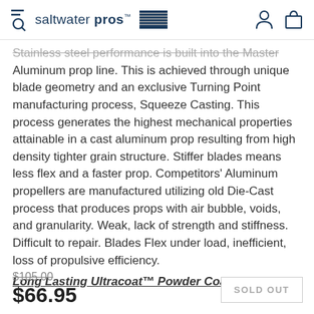saltwater pros
Stainless steel performance is built into the Master Aluminum prop line. This is achieved through unique blade geometry and an exclusive Turning Point manufacturing process, Squeeze Casting. This process generates the highest mechanical properties attainable in a cast aluminum prop resulting from high density tighter grain structure. Stiffer blades means less flex and a faster prop. Competitors' Aluminum propellers are manufactured utilizing old Die-Cast process that produces props with air bubble, voids, and granularity. Weak, lack of strength and stiffness. Difficult to repair. Blades Flex under load, inefficient, loss of propulsive efficiency.
Long Lasting Ultracoat™ Powder Coated Finish
$105.00
$66.95
SOLD OUT